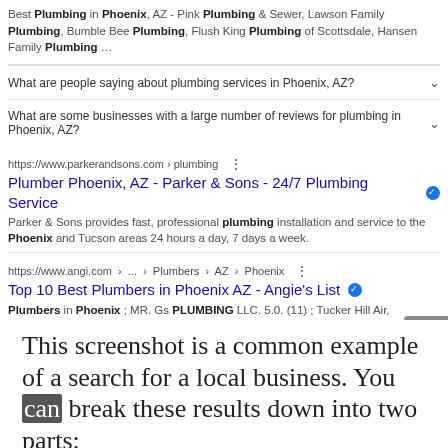Best Plumbing in Phoenix, AZ - Pink Plumbing & Sewer, Lawson Family Plumbing, Bumble Bee Plumbing, Flush King Plumbing of Scottsdale, Hansen Family Plumbing ...
What are people saying about plumbing services in Phoenix, AZ?
What are some businesses with a large number of reviews for plumbing in Phoenix, AZ?
https://www.parkerandsons.com › plumbing
Plumber Phoenix, AZ - Parker & Sons - 24/7 Plumbing Service
Parker & Sons provides fast, professional plumbing installation and service to the Phoenix and Tucson areas 24 hours a day, 7 days a week.
https://www.angi.com › ... › Plumbers › AZ › Phoenix
Top 10 Best Plumbers in Phoenix AZ - Angie's List
Plumbers in Phoenix ; MR. Gs PLUMBING LLC. 5.0. (11) ; Tucker Hill Air, Plumbing. & Electric. 5.0. (5) ; Reddi Services. 4.8. (957) ; Arizona Plumbing Services. 4.5.
Rating: 4.5 · 30,436 reviews
https://www.benfranklinplumbingaz.com
Plumber Phoenix | Phoenix Plumbing (24/7 Emergency ...
Emergency Plumbers Phoenix. We are the Phoenix Plumber & Plumbers Near Me. Our Plumbers in Phoenix AZ have 5 star verified reviews provide same day service and
This screenshot is a common example of a search for a local business. You can break these results down into two parts: